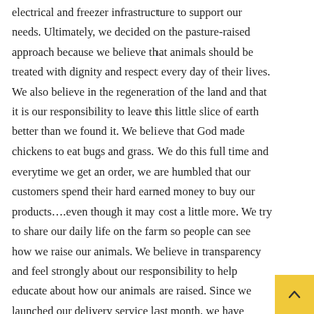electrical and freezer infrastructure to support our needs. Ultimately, we decided on the pasture-raised approach because we believe that animals should be treated with dignity and respect every day of their lives. We also believe in the regeneration of the land and that it is our responsibility to leave this little slice of earth better than we found it. We believe that God made chickens to eat bugs and grass. We do this full time and everytime we get an order, we are humbled that our customers spend their hard earned money to buy our products….even though it may cost a little more. We try to share our daily life on the farm so people can see how we raise our animals. We believe in transparency and feel strongly about our responsibility to help educate about how our animals are raised. Since we launched our delivery service last month, we have gotten a few questions about why it costs more to buy pasture-raised products. So in the spirit of transparency, we wanted to share a few details about our methods and the true cost of our f